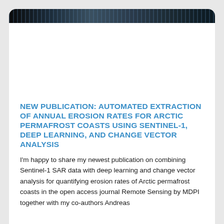[Figure (photo): A dark satellite or remote sensing image strip at the top of the card, showing a coastal/terrain view in dark tones with some lighter highlights.]
NEW PUBLICATION: AUTOMATED EXTRACTION OF ANNUAL EROSION RATES FOR ARCTIC PERMAFROST COASTS USING SENTINEL-1, DEEP LEARNING, AND CHANGE VECTOR ANALYSIS
I'm happy to share my newest publication on combining Sentinel-1 SAR data with deep learning and change vector analysis for quantifying erosion rates of Arctic permafrost coasts in the open access journal Remote Sensing by MDPI together with my co-authors Andreas